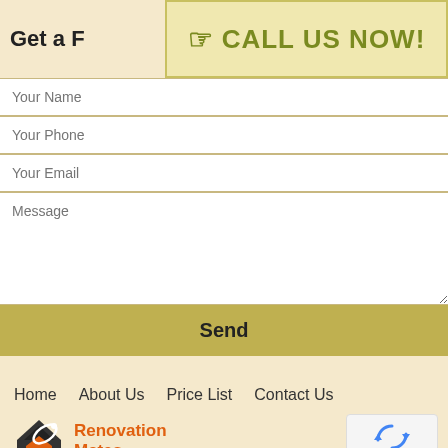Get a F
[Figure (infographic): Call Us Now button/banner with hand pointer icon and bold olive-green text on light yellow background]
Your Name
Your Phone
Your Email
Message
Send
Home   About Us   Price List   Contact Us
[Figure (logo): Renovation Mates logo with stylized house icon in orange and black, and orange company name text]
[Figure (other): reCAPTCHA widget showing rotating arrows icon with Privacy and Terms text]